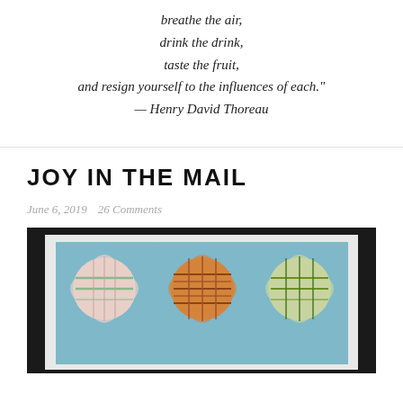breathe the air,
drink the drink,
taste the fruit,
and resign yourself to the influences of each."
— Henry David Thoreau
JOY IN THE MAIL
June 6, 2019   26 Comments
[Figure (photo): A quilt block art piece featuring three squares with blue corners and plaid fabric centers (pink/white, orange/brown, and green/yellow plaids), displayed against a dark background on a light blue/white background card.]